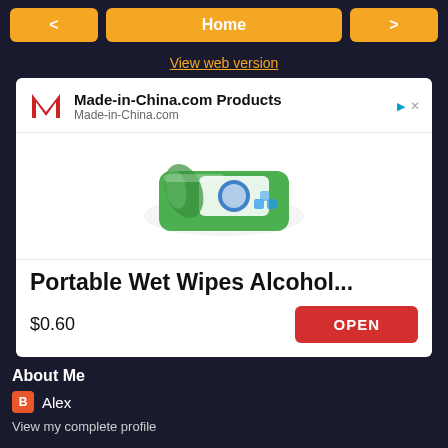< Home >
View web version
[Figure (screenshot): Advertisement for Made-in-China.com Products showing a package of Portable Wet Wipes Alcohol... priced at $0.60 with an OPEN button]
About Me
Alex
View my complete profile
Powered by Blogger.